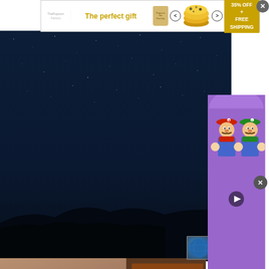[Figure (screenshot): Top advertisement banner: 'The perfect gift' in golden text with product jar, bowl, navigation arrows, and '35% OFF + FREE SHIPPING' promo badge]
[Figure (photo): Night sky background image with dark blue tones and scattered stars]
[Figure (screenshot): Globe/earth thumbnail icon in bottom-left of video area]
[Figure (illustration): Mario and Luigi cartoon characters facing each other with fists raised, from animated series, on purple background]
[Figure (photo): Older man with gray hair wearing pink shirt photographed indoors]
that this is because modern life becomes ever more complicated.
— A. N. Wilson —
[Figure (screenshot): Bottom advertisement banner: 'The perfect gift' in golden text with product jar, bowl, navigation arrows, and '35% OFF + FREE SHIPPING' promo badge]